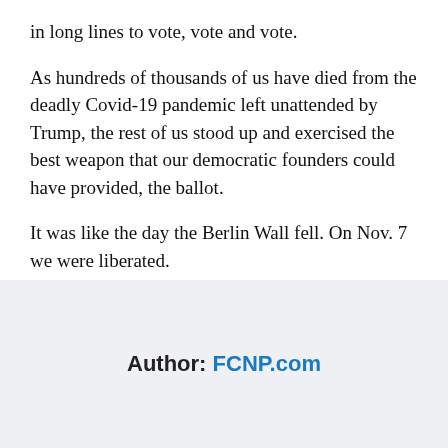in long lines to vote, vote and vote.
As hundreds of thousands of us have died from the deadly Covid-19 pandemic left unattended by Trump, the rest of us stood up and exercised the best weapon that our democratic founders could have provided, the ballot.
It was like the day the Berlin Wall fell. On Nov. 7 we were liberated.
[Figure (other): Social sharing buttons for Facebook, Twitter, and LinkedIn]
Author: FCNP.com